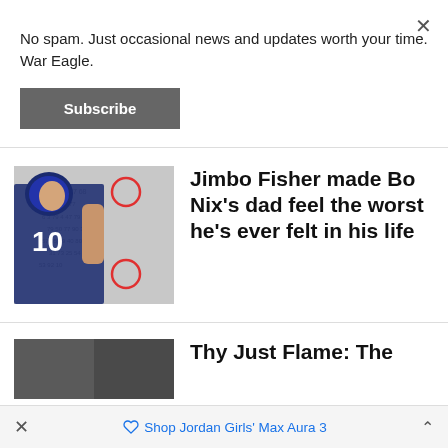No spam. Just occasional news and updates worth your time. War Eagle.
Subscribe
[Figure (photo): Football player wearing Auburn jersey number 10 in color, overlaid on a black and white team photo with red circles highlighting two figures in the crowd]
Jimbo Fisher made Bo Nix's dad feel the worst he's ever felt in his life
[Figure (photo): Partially visible dark/grey image, bottom article thumbnail]
Thy Just Flame: The
× Shop Jordan Girls' Max Aura 3 ^